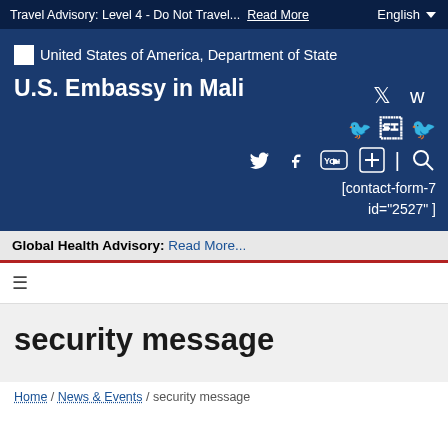Travel Advisory: Level 4 - Do Not Travel... Read More
[Figure (logo): United States of America, Department of State logo placeholder (white rectangle)]
U.S. Embassy in Mali
[contact-form-7 id="2527"]
Global Health Advisory: Read More...
security message
Home / News & Events / security message